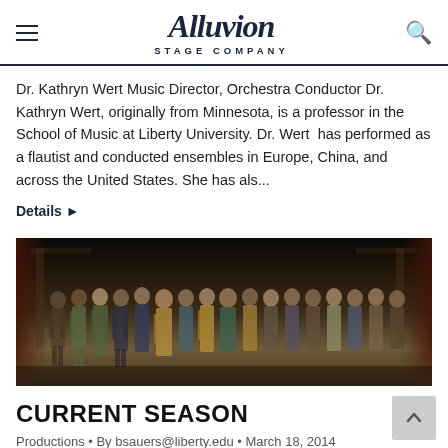Alluvion Stage Company
Dr. Kathryn Wert Music Director, Orchestra Conductor Dr. Kathryn Wert, originally from Minnesota, is a professor in the School of Music at Liberty University. Dr. Wert has performed as a flautist and conducted ensembles in Europe, China, and across the United States. She has als...
Details ▶
[Figure (photo): Theater cast group photo on stage at curtain call, performers in period costumes standing in a line on a dark theatrical stage with a wooden set backdrop.]
CURRENT SEASON
Productions • By bsauers@liberty.edu • March 18, 2014